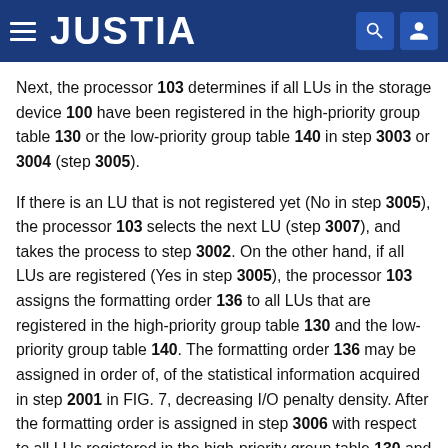JUSTIA
Next, the processor 103 determines if all LUs in the storage device 100 have been registered in the high-priority group table 130 or the low-priority group table 140 in step 3003 or 3004 (step 3005).
If there is an LU that is not registered yet (No in step 3005), the processor 103 selects the next LU (step 3007), and takes the process to step 3002. On the other hand, if all LUs are registered (Yes in step 3005), the processor 103 assigns the formatting order 136 to all LUs that are registered in the high-priority group table 130 and the low-priority group table 140. The formatting order 136 may be assigned in order of, of the statistical information acquired in step 2001 in FIG. 7, decreasing I/O penalty density. After the formatting order is assigned in step 3006 with respect to all LUs registered in the high-priority group table 130 and the low-priority